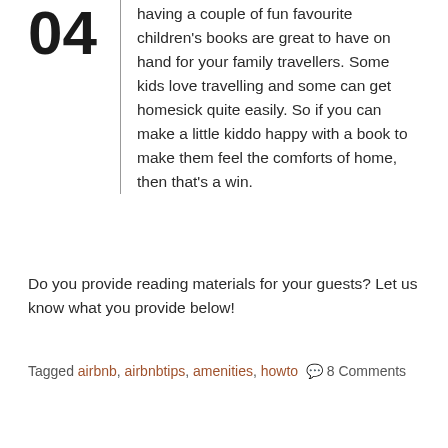04 — having a couple of fun favourite children's books are great to have on hand for your family travellers. Some kids love travelling and some can get homesick quite easily. So if you can make a little kiddo happy with a book to make them feel the comforts of home, then that's a win.
Do you provide reading materials for your guests? Let us know what you provide below!
Tagged airbnb, airbnbtips, amenities, howto 💬 8 Comments